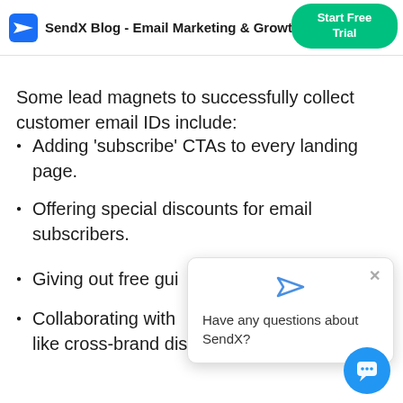SendX Blog - Email Marketing & Growth | Start Free Trial
Some lead magnets to successfully collect customer email IDs include:
Adding 'subscribe' CTAs to every landing page.
Offering special discounts for email subscribers.
Giving out free gui…
Collaborating with … other perks like cross-brand discounts or free goodies.
[Figure (screenshot): Chat popup with SendX icon and text 'Have any questions about SendX?' with close button and blue chat FAB button]